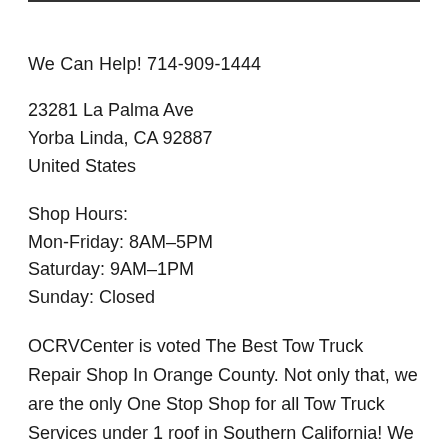We Can Help! 714-909-1444
23281 La Palma Ave
Yorba Linda, CA 92887
United States
Shop Hours:
Mon-Friday: 8AM–5PM
Saturday: 9AM–1PM
Sunday: Closed
OCRVCenter is voted The Best Tow Truck Repair Shop In Orange County. Not only that, we are the only One Stop Shop for all Tow Truck Services under 1 roof in Southern California! We offer a wide range of Tow Truck Repair Services, from Collision Repair, Custom Paint to Tow